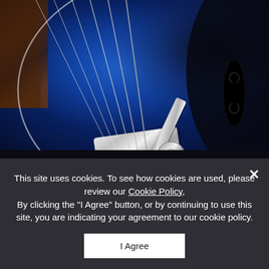[Figure (photo): Close-up photograph of a blue electric guitar body with a chrome Bigsby vibrato tailpiece, strings, guitar knobs, and f-hole visible. The guitar has a sunburst blue finish.]
This site uses cookies. To see how cookies are used, please review our Cookie Policy. By clicking the "I Agree" button, or by continuing to use this site, you are indicating your agreement to our cookie policy.
I Agree